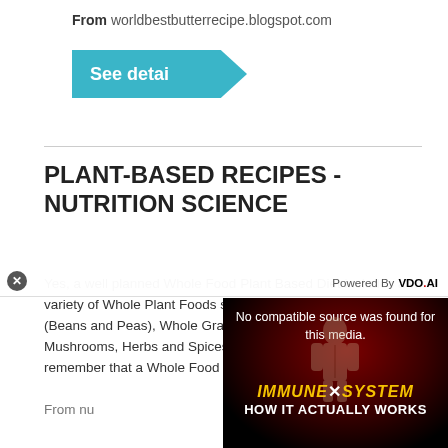From worldbestbutterrecipe.blogspot.com
[Figure (screenshot): Teal 'See detai' button with chevron/arrow shape]
PLANT-BASED RECIPES - NUTRITION SCIENCE
Yes, a well planned Whole Food Plant Based Diet includes a wide variety of Whole Plant Foods such as Fruits, Vegetables, Legumes (Beans and Peas), Whole Grains, Nuts and Seeds along with Mushrooms, Herbs and Spices (just to name a few of us). Just remember that a Whole Food Plant Diet has to be...
From nu...
[Figure (screenshot): Partial teal 'See d' button]
[Figure (screenshot): Video overlay showing 'No compatible source was found for this media.' with IMMUNE SYSTEM HOW IT ACTUALLY WORKS title on dark red background. Powered By VDO.AI label and close X button visible.]
10 BEST...